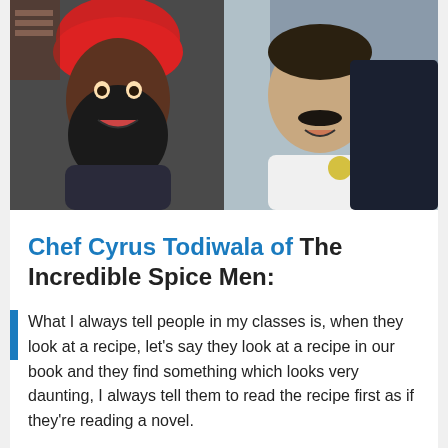[Figure (photo): Two men posing for a selfie-style photo. On the left is a man wearing a red turban and having a large black beard, making an expressive face. On the right is a man in a white chef's coat, smiling. They appear to be in an office or kitchen setting.]
Chef Cyrus Todiwala of The Incredible Spice Men:
What I always tell people in my classes is, when they look at a recipe, let's say they look at a recipe in our book and they find something which looks very daunting, I always tell them to read the recipe first as if they're reading a novel.
The...